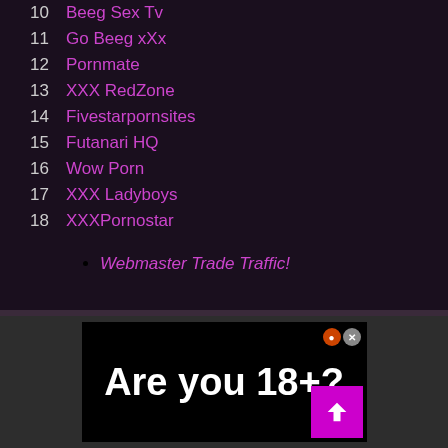10  Beeg Sex Tv
11  Go Beeg xXx
12  Pornmate
13  XXX RedZone
14  Fivestarpornsites
15  Futanari HQ
16  Wow Porn
17  XXX Ladyboys
18  XXXPornostar
Webmaster Trade Traffic!
[Figure (screenshot): Ad banner with text 'Are you 18+?' on black background with close icons and scroll-to-top button]